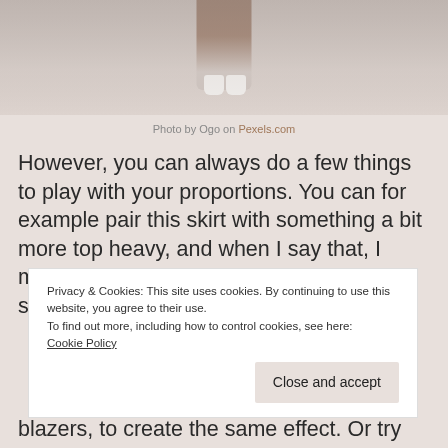[Figure (photo): Photo showing legs and white sneakers of a person standing on a light stone/marble surface]
Photo by Ogo on Pexels.com
However, you can always do a few things to play with your proportions. You can for example pair this skirt with something a bit more top heavy, and when I say that, I mean something like a cute, ruched shouldered top to increase the width of
Privacy & Cookies: This site uses cookies. By continuing to use this website, you agree to their use.
To find out more, including how to control cookies, see here:
Cookie Policy
Close and accept
blazers, to create the same effect. Or try